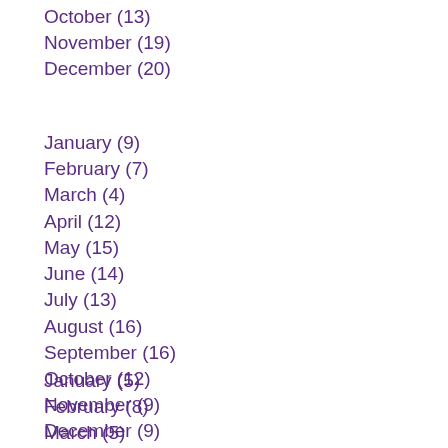October (13)
November (19)
December (20)
January (9)
February (7)
March (4)
April (12)
May (15)
June (14)
July (13)
August (16)
September (16)
October (12)
November (9)
December (9)
January (5)
February (8)
March (5)
April (11)